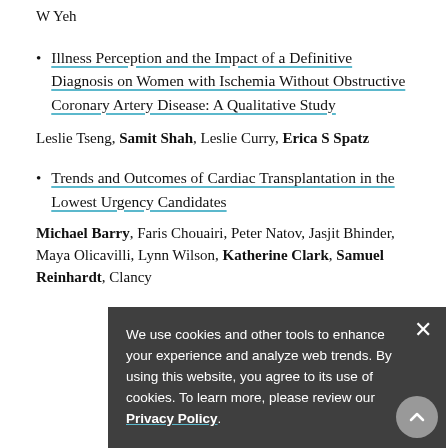W Yeh
Illness Perception and the Impact of a Definitive Diagnosis on Women with Ischemia Without Obstructive Coronary Artery Disease: A Qualitative Study
Leslie Tseng, Samit Shah, Leslie Curry, Erica S Spatz
Trends and Outcomes of Cardiac Transplantation in the Lowest Urgency Candidates
Michael Barry, Faris Chouairi, Peter Natov, Jasjit Bhinder, Maya Olicavilli, Lynn Wilson, Katherine Clark, Samuel Reinhardt, Clancy